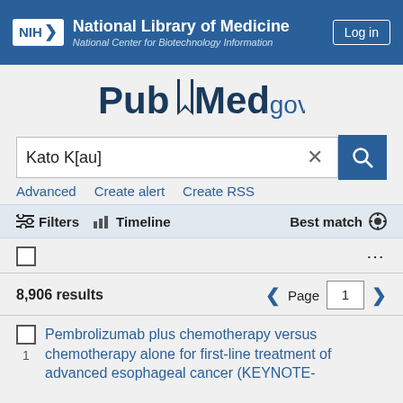NIH National Library of Medicine National Center for Biotechnology Information | Log in
[Figure (logo): PubMed.gov logo with bookmark icon]
Kato K[au]
Advanced   Create alert   Create RSS
Filters   Timeline   Best match
8,906 results   Page 1
Pembrolizumab plus chemotherapy versus chemotherapy alone for first-line treatment of advanced esophageal cancer (KEYNOTE-